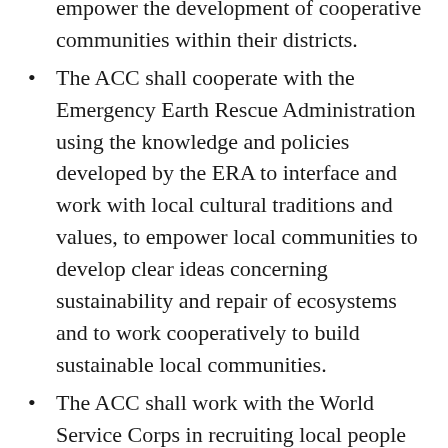empower the development of cooperative communities within their districts.
The ACC shall cooperate with the Emergency Earth Rescue Administration using the knowledge and policies developed by the ERA to interface and work with local cultural traditions and values, to empower local communities to develop clear ideas concerning sustainability and repair of ecosystems and to work cooperatively to build sustainable local communities.
The ACC shall work with the World Service Corps in recruiting local people into the projects of eliminating poverty in communities, removing pollution, providing basic needs and services to all